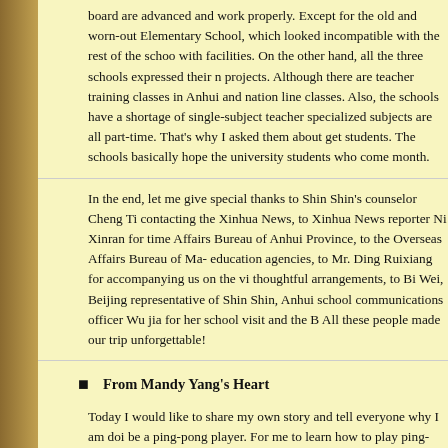board are advanced and work properly. Except for the old and worn-out Elementary School, which looked incompatible with the rest of the school with facilities. On the other hand, all the three schools expressed their need projects. Although there are teacher training classes in Anhui and nation line classes. Also, the schools have a shortage of single-subject teachers specialized subjects are all part-time. That's why I asked them about getting students. The schools basically hope the university students who come month.
In the end, let me give special thanks to Shin Shin's counselor Cheng Ti contacting the Xinhua News, to Xinhua News reporter Ni Xinran for time Affairs Bureau of Anhui Province, to the Overseas Affairs Bureau of Ma- education agencies, to Mr. Ding Ruixiang for accompanying us on the vi thoughtful arrangements, to Bi Wei, Beijing representative of Shin Shin, Anhui school communications officer Wu jia for her school visit and the B All these people made our trip unforgettable!
From Mandy Yang's Heart
Today I would like to share my own story and tell everyone why I am doi be a ping-pong player. For me to learn how to play ping-pong, my paren when I was only eight. I came from a humble family. Learning ping-pong parents put all their money on me. I remember my parents went to see m